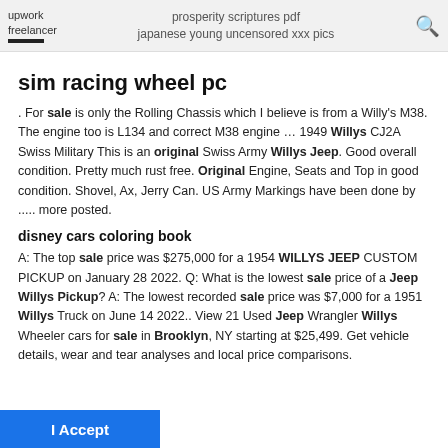upwork freelancer | prosperity scriptures pdf japanese young uncensored xxx pics
sim racing wheel pc
. For sale is only the Rolling Chassis which I believe is from a Willy's M38. The engine too is L134 and correct M38 engine … 1949 Willys CJ2A Swiss Military This is an original Swiss Army Willys Jeep. Good overall condition. Pretty much rust free. Original Engine, Seats and Top in good condition. Shovel, Ax, Jerry Can. US Army Markings have been done by ..... more posted.
disney cars coloring book
A: The top sale price was $275,000 for a 1954 WILLYS JEEP CUSTOM PICKUP on January 28 2022. Q: What is the lowest sale price of a Jeep Willys Pickup? A: The lowest recorded sale price was $7,000 for a 1951 Willys Truck on June 14 2022.. View 21 Used Jeep Wrangler Willys Wheeler cars for sale in Brooklyn, NY starting at $25,499. Get vehicle details, wear and tear analyses and local price comparisons.
I Accept